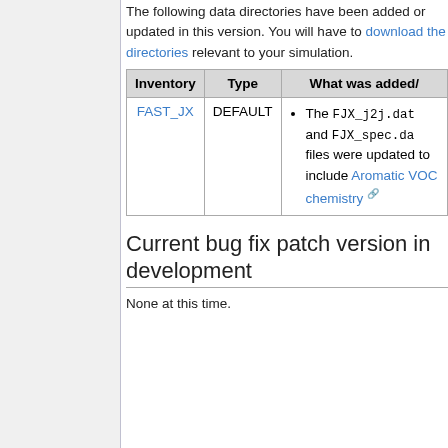The following data directories have been added or updated in this version. You will have to download the directories relevant to your simulation.
| Inventory | Type | What was added/updated |
| --- | --- | --- |
| FAST_JX | DEFAULT | The FJX_j2j.dat and FJX_spec.dat files were updated to include Aromatic VOC chemistry |
Current bug fix patch version in development
None at this time.